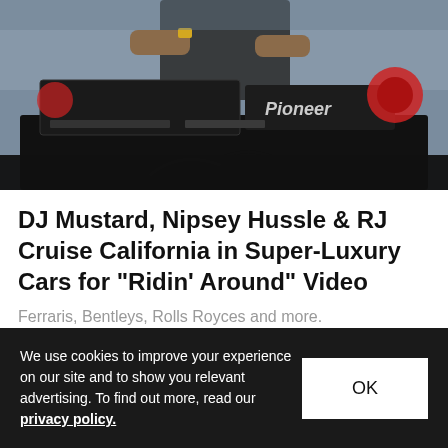[Figure (photo): A DJ working at Pioneer DJ equipment/turntables, photographed from above/front angle. Black equipment visible with Pioneer branding.]
DJ Mustard, Nipsey Hussle & RJ Cruise California in Super-Luxury Cars for "Ridin' Around" Video
Ferraris, Bentleys, Rolls Royces and more.
Music   Jan 3, 2017   🔥 1.3K   💬 0
We use cookies to improve your experience on our site and to show you relevant advertising. To find out more, read our privacy policy.